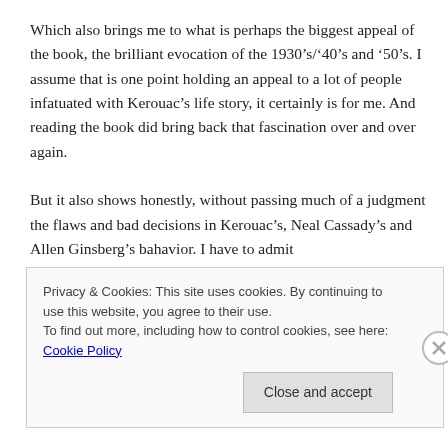Which also brings me to what is perhaps the biggest appeal of the book, the brilliant evocation of the 1930’s/‘40’s and ’50’s. I assume that is one point holding an appeal to a lot of people infatuated with Kerouac’s life story, it certainly is for me. And reading the book did bring back that fascination over and over again.

But it also shows honestly, without passing much of a judgment the flaws and bad decisions in Kerouac’s, Neal Cassady’s and Allen Ginsberg’s bahavior. I have to admit
Privacy & Cookies: This site uses cookies. By continuing to use this website, you agree to their use.
To find out more, including how to control cookies, see here: Cookie Policy
Close and accept